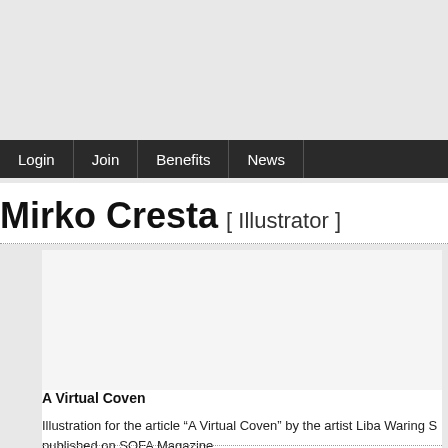Login | Join | Benefits | News
Mirko Cresta [ Illustrator ]
[Figure (illustration): White illustration/artwork area for 'A Virtual Coven']
A Virtual Coven
Illustration for the article “A Virtual Coven” by the artist Liba Waring S published on SOFA Magazine.
Copyright: Mirko Cresta